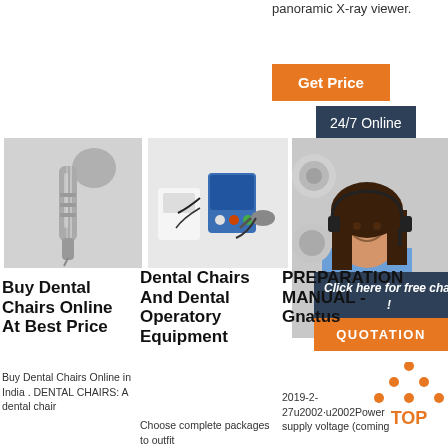panoramic X-ray viewer.
Get Price
24/7 Online
[Figure (photo): Dental handpiece/turbine product photo]
[Figure (photo): Dental micromotor/electric kit product photo]
[Figure (photo): Dental equipment parts and customer service representative]
Click here for free chat !
QUOTATION
Buy Dental Chairs Online At Best Price
Buy Dental Chairs Online in India . DENTAL CHAIRS: A dental chair
Dental Chairs And Dental Operatory Equipment
Choose complete packages to outfit
PREPARATION MANUAL - Gnatus
2019-2-27u2002·u2002Power supply voltage (coming